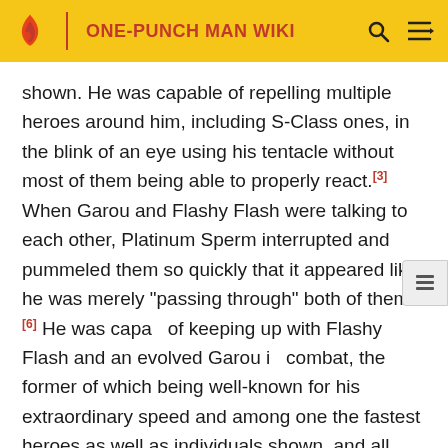ONE-PUNCH MAN WIKI
shown. He was capable of repelling multiple heroes around him, including S-Class ones, in the blink of an eye using his tentacle without most of them being able to properly react.[3] When Garou and Flashy Flash were talking to each other, Platinum Sperm interrupted and pummeled them so quickly that it appeared like he was merely "passing through" both of them.[6] He was capable of keeping up with Flashy Flash and an evolved Garou in combat, the former of which being well-known for his extraordinary speed and among one the fastest heroes as well as individuals shown, and all three of them were so fast that a geometric structure of light was created from the speed of their fight.[4] Upon getting more serious, Platinum Sperm was able to move at speeds even greater